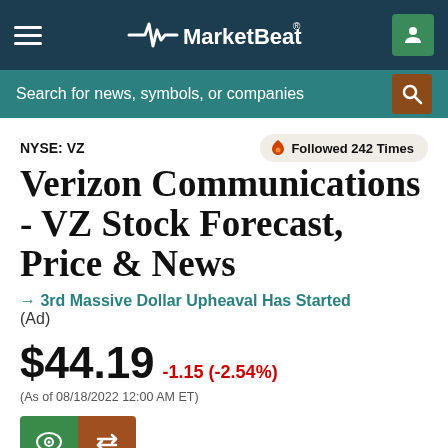MarketBeat
Search for news, symbols, or companies
NYSE: VZ
Followed 242 Times
Verizon Communications - VZ Stock Forecast, Price & News
→ 3rd Massive Dollar Upheaval Has Started
(Ad)
$44.19 -1.15 (-2.54%) (As of 08/18/2022 12:00 AM ET)
SHARE